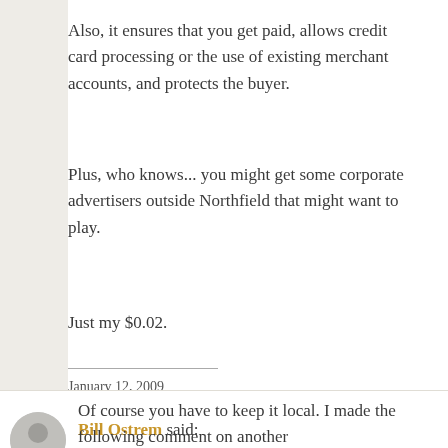Also, it ensures that you get paid, allows credit card processing or the use of existing merchant accounts, and protects the buyer.
Plus, who knows... you might get some corporate advertisers outside Northfield that might want to play.
Just my $0.02.
January 12, 2009
Bill Ostrem said:
Of course you have to keep it local. I made the following comment on another